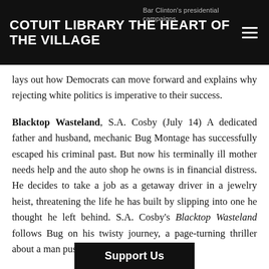COTUIT LIBRARY THE HEART OF THE VILLAGE  Bar Clinton's presidential campaigns,
lays out how Democrats can move forward and explains why rejecting white politics is imperative to their success.
Blacktop Wasteland, S.A. Cosby (July 14) A dedicated father and husband, mechanic Bug Montage has successfully escaped his criminal past. But now his terminally ill mother needs help and the auto shop he owns is in financial distress. He decides to take a job as a getaway driver in a jewelry heist, threatening the life he has built by slipping into one he thought he left behind. S.A. Cosby's Blacktop Wasteland follows Bug on his twisty journey, a page-turning thriller about a man pushed to his
Support Us